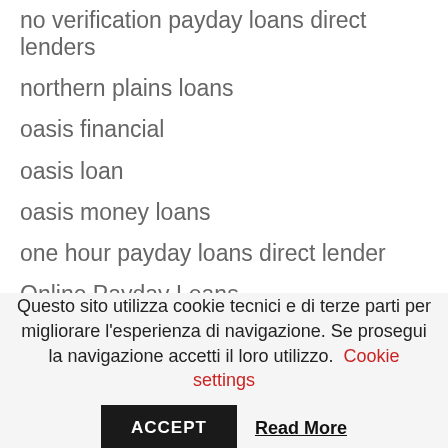no verification payday loans direct lenders
northern plains loans
oasis financial
oasis loan
oasis money loans
one hour payday loans direct lender
Online Payday Loans
online payday loans for bad credit
overnight loan
overnight loans online
Questo sito utilizza cookie tecnici e di terze parti per migliorare l'esperienza di navigazione. Se prosegui la navigazione accetti il loro utilizzo. Cookie settings
ACCEPT
Read More